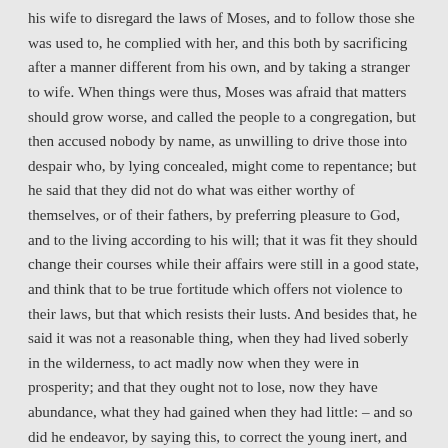his wife to disregard the laws of Moses, and to follow those she was used to, he complied with her, and this both by sacrificing after a manner different from his own, and by taking a stranger to wife. When things were thus, Moses was afraid that matters should grow worse, and called the people to a congregation, but then accused nobody by name, as unwilling to drive those into despair who, by lying concealed, might come to repentance; but he said that they did not do what was either worthy of themselves, or of their fathers, by preferring pleasure to God, and to the living according to his will; that it was fit they should change their courses while their affairs were still in a good state, and think that to be true fortitude which offers not violence to their laws, but that which resists their lusts. And besides that, he said it was not a reasonable thing, when they had lived soberly in the wilderness, to act madly now when they were in prosperity; and that they ought not to lose, now they have abundance, what they had gained when they had little: – and so did he endeavor, by saying this, to correct the young inert, and to bring them to repentance for what they had done.